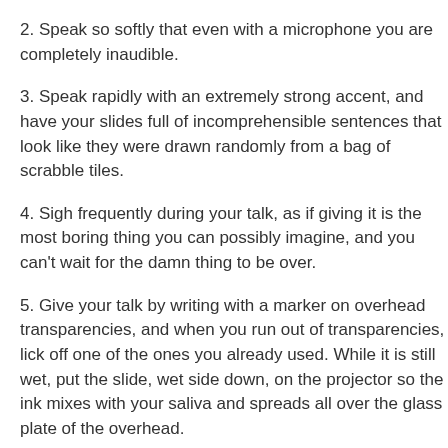2. Speak so softly that even with a microphone you are completely inaudible.
3. Speak rapidly with an extremely strong accent, and have your slides full of incomprehensible sentences that look like they were drawn randomly from a bag of scrabble tiles.
4. Sigh frequently during your talk, as if giving it is the most boring thing you can possibly imagine, and you can't wait for the damn thing to be over.
5. Give your talk by writing with a marker on overhead transparencies, and when you run out of transparencies, lick off one of the ones you already used. While it is still wet, put the slide, wet side down, on the projector so the ink mixes with your saliva and spreads all over the glass plate of the overhead.
6. Begin by insulting the organizers. State that you are so important, they should have found a larger room for you to speak in. Say that everyone else is stupid. Do not give any